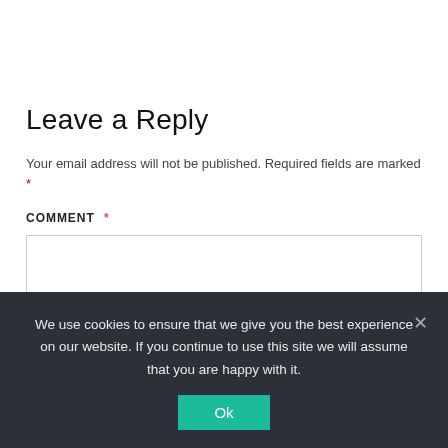Leave a Reply
Your email address will not be published. Required fields are marked *
COMMENT *
[Figure (screenshot): Empty comment text area input box with light gray border]
We use cookies to ensure that we give you the best experience on our website. If you continue to use this site we will assume that you are happy with it.
Ok